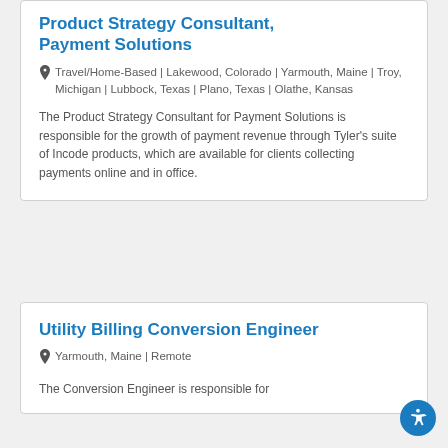Product Strategy Consultant, Payment Solutions
Travel/Home-Based | Lakewood, Colorado | Yarmouth, Maine | Troy, Michigan | Lubbock, Texas | Plano, Texas | Olathe, Kansas
The Product Strategy Consultant for Payment Solutions is responsible for the growth of payment revenue through Tyler's suite of Incode products, which are available for clients collecting payments online and in office.
Utility Billing Conversion Engineer
Yarmouth, Maine | Remote
The Conversion Engineer is responsible for